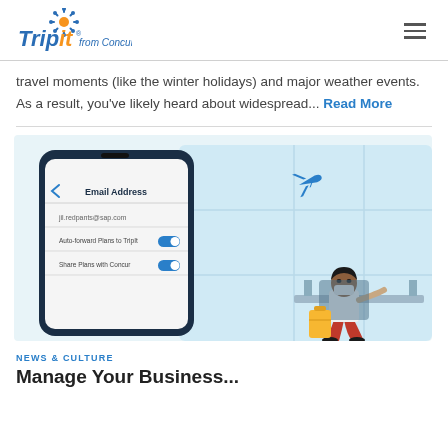TripIt from Concur
travel moments (like the winter holidays) and major weather events. As a result, you've likely heard about widespread... Read More
[Figure (illustration): Illustration of a smartphone showing an Email Address screen with fields for jil.redpants@sap.com, Auto-forward Plans to TripIt toggle on, Share Plans with Concur toggle on. Behind the phone is an airport lounge scene with a woman wearing a mask seated with a yellow suitcase, and an airplane visible through large windows.]
NEWS & CULTURE
Manage Your Business...